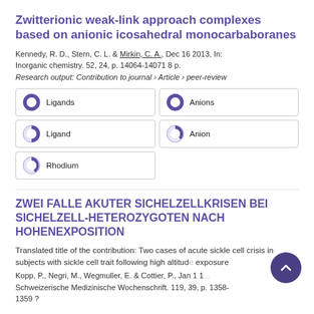Zwitterionic weak-link approach complexes based on anionic icosahedral monocarbaboranes
Kennedy, R. D., Stern, C. L. & Mirkin, C. A., Dec 16 2013, In: Inorganic chemistry. 52, 24, p. 14064-14071 8 p.
Research output: Contribution to journal › Article › peer-review
Ligands
Anions
Ligand
Anion
Rhodium
ZWEI FALLE AKUTER SICHELZELLKRISEN BEI SICHELZELL-HETEROZYGOTEN NACH HOHENEXPOSITION
Translated title of the contribution: Two cases of acute sickle cell crisis in subjects with sickle cell trait following high altitude exposure
Kopp, P., Negri, M., Wegmuller, E. & Cottier, P., Jan 1 1... Schweizerische Medizinische Wochenschrift. 119, 39, p. 1358-1359 ?